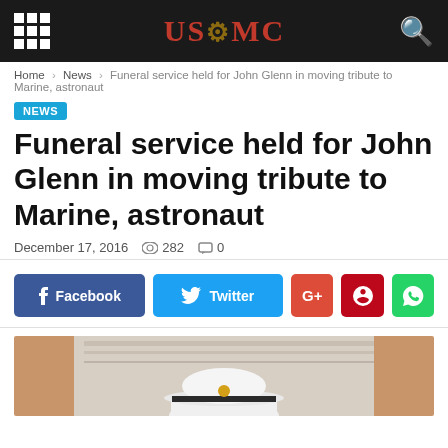USMC (logo with grid icon and search icon)
Home › News › Funeral service held for John Glenn in moving tribute to Marine, astronaut
NEWS
Funeral service held for John Glenn in moving tribute to Marine, astronaut
December 17, 2016   282   0
[Figure (infographic): Social sharing buttons: Facebook, Twitter, Google+, Pinterest, WhatsApp]
[Figure (photo): Photo showing a person wearing a white Marine Corps dress cap, partially visible, with a marble or stone background]